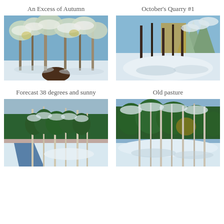An Excess of Autumn
October's Quarry #1
[Figure (illustration): Oil painting of a snowy winter forest scene with trees heavily laden with snow, blue sky visible in background, dark undergrowth visible at bottom center]
[Figure (illustration): Oil painting of a snowy winter landscape with bare dark tree trunks, snow-covered evergreen trees on the right, blue sky, and a snow-covered ground]
Forecast 38 degrees and sunny
Old pasture
[Figure (illustration): Oil painting of a stream or river flowing through a snowy forest with tall thin trees, green pines, pinkish mountain in background]
[Figure (illustration): Oil painting of a snowy forest scene with tall thin trees and dense green pine trees in background, snow on ground]